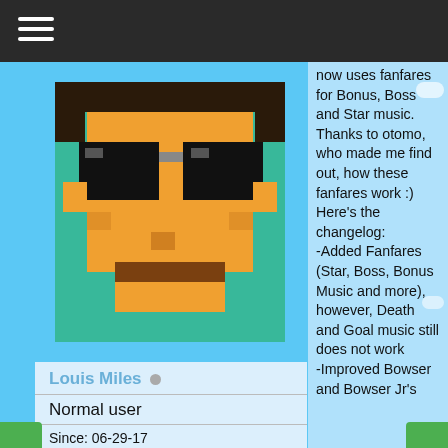[Figure (screenshot): Dark top navigation bar with hamburger menu icon (three white horizontal lines)]
[Figure (illustration): Pixel art avatar of a character with orange/tan face, black sunglasses, brown hair, on a teal background, set against a blue sky]
Louis Miles
Normal user
Since: 06-29-17
From: Germany
now uses fanfares for Bonus, Boss and Star music. Thanks to otomo, who made me find out, how these fanfares work :) Here's the changelog:
-Added Fanfares (Star, Boss, Bonus Music and more), however, Death and Goal music still does not work
-Improved Bowser and Bowser Jr's